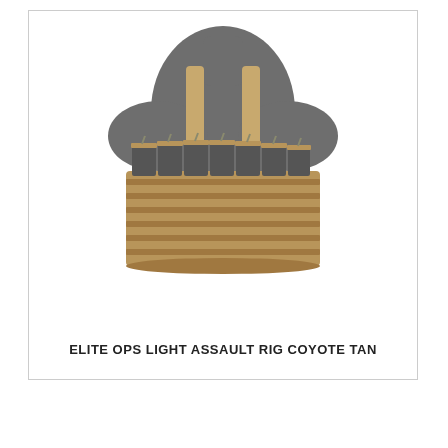[Figure (photo): Photo of an Elite Ops Light Assault Rig in Coyote Tan color, shown mounted on a grey mannequin torso. The rig features a tan MOLLE panel with multiple magazine pouches and tan shoulder straps.]
ELITE OPS LIGHT ASSAULT RIG COYOTE TAN